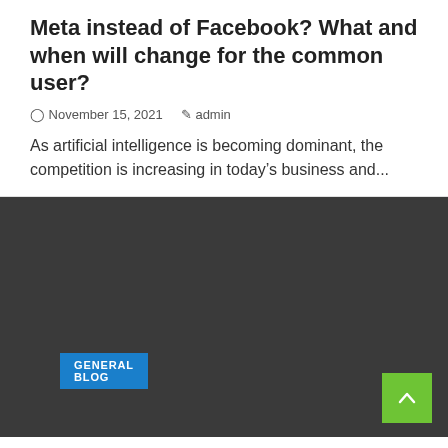Meta instead of Facebook? What and when will change for the common user?
November 15, 2021  admin
As artificial intelligence is becoming dominant, the competition is increasing in today's business and...
[Figure (photo): Dark grey/charcoal image block placeholder for an article image]
GENERAL BLOG
Woocomerce Add Product Categorywise